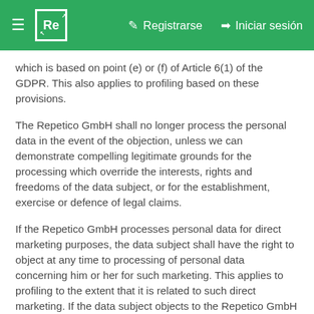≡  [Re]   ✎  Registrarse   ➜  Iniciar sesión
which is based on point (e) or (f) of Article 6(1) of the GDPR. This also applies to profiling based on these provisions.
The Repetico GmbH shall no longer process the personal data in the event of the objection, unless we can demonstrate compelling legitimate grounds for the processing which override the interests, rights and freedoms of the data subject, or for the establishment, exercise or defence of legal claims.
If the Repetico GmbH processes personal data for direct marketing purposes, the data subject shall have the right to object at any time to processing of personal data concerning him or her for such marketing. This applies to profiling to the extent that it is related to such direct marketing. If the data subject objects to the Repetico GmbH to the processing for direct marketing purposes, the Repetico GmbH will no longer process the personal data for these purposes.